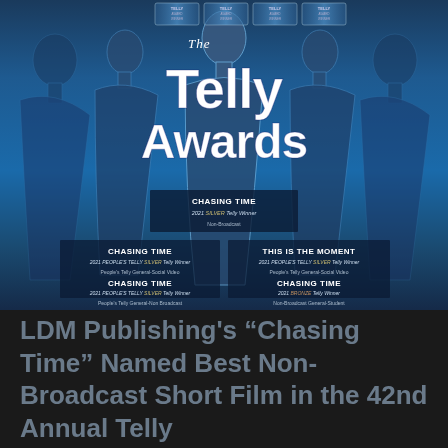[Figure (illustration): The Telly Awards promotional image showing trophy silhouettes against a blue gradient background, with multiple award badges at top and overlay boxes listing award wins for 'Chasing Time' and 'This Is The Moment']
LDM Publishing's “Chasing Time” Named Best Non-Broadcast Short Film in the 42nd Annual Telly